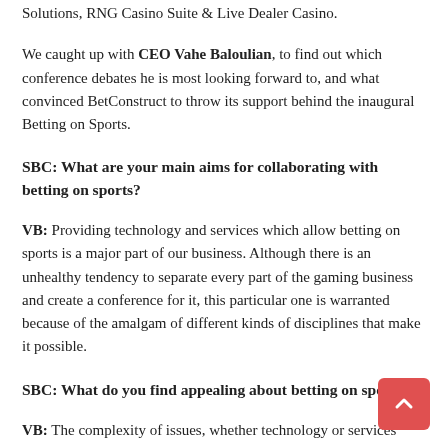Solutions, RNG Casino Suite & Live Dealer Casino.
We caught up with CEO Vahe Baloulian, to find out which conference debates he is most looking forward to, and what convinced BetConstruct to throw its support behind the inaugural Betting on Sports.
SBC: What are your main aims for collaborating with betting on sports?
VB: Providing technology and services which allow betting on sports is a major part of our business. Although there is an unhealthy tendency to separate every part of the gaming business and create a conference for it, this particular one is warranted because of the amalgam of different kinds of disciplines that make it possible.
SBC: What do you find appealing about betting on sports?
VB: The complexity of issues, whether technology or services related, that make betting on sports possible, demands a specialist conference to examine them and Betting on Sports is that